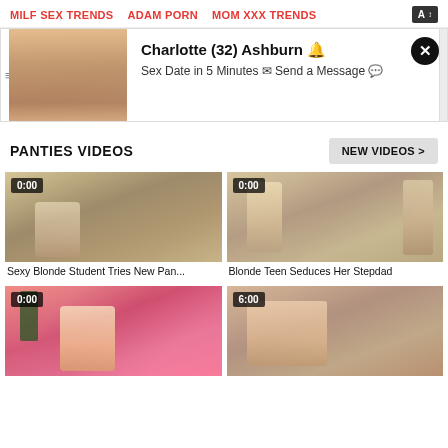MILF SEX TRENDS   ADAM PORN   MOM XXX TRENDS
[Figure (screenshot): Ad banner with image on left showing adult content, text reads: Charlotte (32) Ashburn, Sex Date in 5 Minutes, Send a Message, with close X button]
PANTIES VIDEOS
NEW VIDEOS >
[Figure (screenshot): Video thumbnail - Sexy Blonde Student Tries New Pan... with 0:00 time badge]
Sexy Blonde Student Tries New Pan...
[Figure (screenshot): Video thumbnail - Blonde Teen Seduces Her Stepdad with 0:00 time badge]
Blonde Teen Seduces Her Stepdad
[Figure (screenshot): Video thumbnail with 0:00 time badge, blonde woman in pink]
[Figure (screenshot): Video thumbnail with 6:00 time badge, brunette woman in pink]